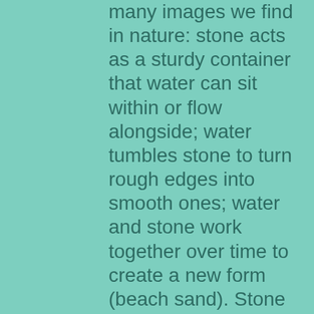many images we find in nature: stone acts as a sturdy container that water can sit within or flow alongside; water tumbles stone to turn rough edges into smooth ones; water and stone work together over time to create a new form (beach sand). Stone reminds us to find our power in grounded presence; water reminds us to find our power in being flexible and fluid.

With our name, which highlights the intention we bring to engage one another and our clients as collaborative partners, we strive to bring the lessons